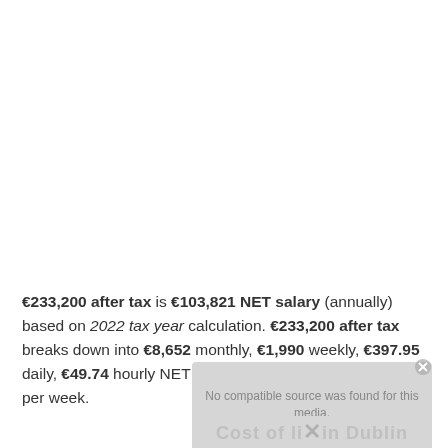€233,200 after tax is €103,821 NET salary (annually) based on 2022 tax year calculation. €233,200 after tax breaks down into €8,652 monthly, €1,990 weekly, €397.95 daily, €49.74 hourly NET salary if you're working 40 hours per week.